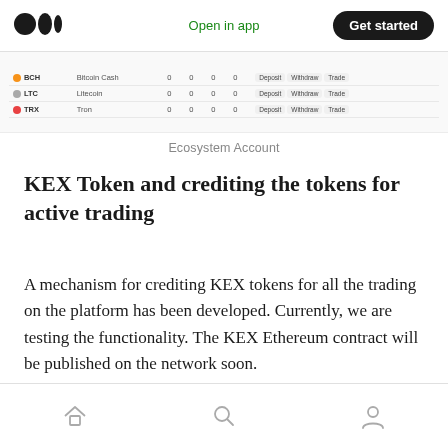Medium logo | Open in app | Get started
[Figure (screenshot): Partial screenshot of a crypto trading table showing rows for BCH (Bitcoin Cash), LTC (Litecoin), and TRX (Tron) with columns for values and action buttons (Deposit, Withdraw, Trade)]
Ecosystem Account
KEX Token and crediting the tokens for active trading
A mechanism for crediting KEX tokens for all the trading on the platform has been developed. Currently, we are testing the functionality. The KEX Ethereum contract will be published on the network soon.
Home | Search | Profile icons